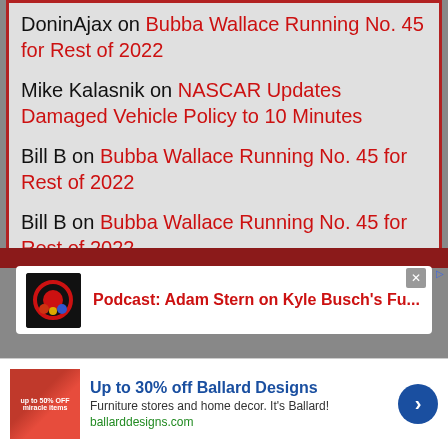DoninAjax on Bubba Wallace Running No. 45 for Rest of 2022
Mike Kalasnik on NASCAR Updates Damaged Vehicle Policy to 10 Minutes
Bill B on Bubba Wallace Running No. 45 for Rest of 2022
Bill B on Bubba Wallace Running No. 45 for Rest of 2022
[Figure (screenshot): Podcast card with thumbnail: Podcast: Adam Stern on Kyle Busch's Fu...]
[Figure (screenshot): Advertisement: Up to 30% off Ballard Designs. Furniture stores and home decor. It's Ballard! ballarddesigns.com]